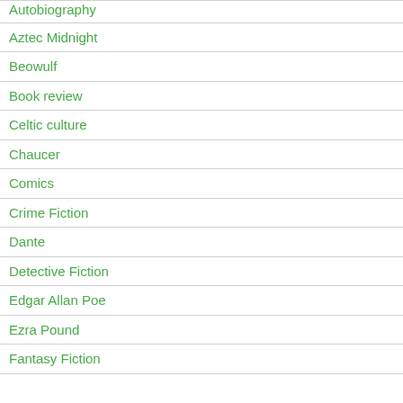Autobiography
Aztec Midnight
Beowulf
Book review
Celtic culture
Chaucer
Comics
Crime Fiction
Dante
Detective Fiction
Edgar Allan Poe
Ezra Pound
Fantasy Fiction